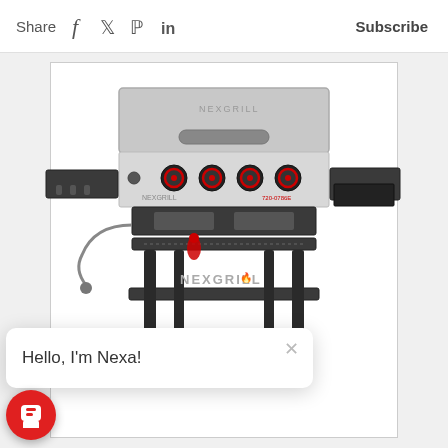Share  f  t  p  in    Subscribe
[Figure (photo): Nexgrill flat top 4-burner gas grill with stainless steel lid, four red knobs, side shelves, and lower storage shelf on wheels. Shows propane connection on left side and grease tray on right. Brand name NEXGRILL visible on lower frame.]
Hello, I'm Nexa!